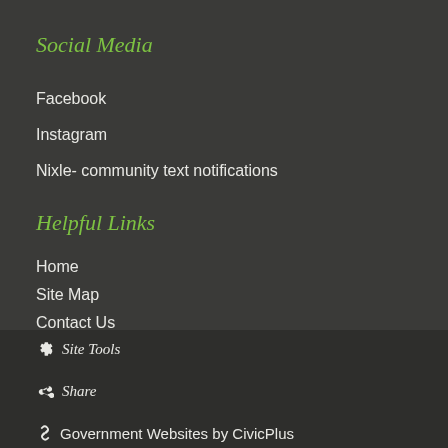Social Media
Facebook
Instagram
Nixle- community text notifications
Helpful Links
Home
Site Map
Contact Us
Accessibility
Copyright Notices
Site Tools
Share
Government Websites by CivicPlus